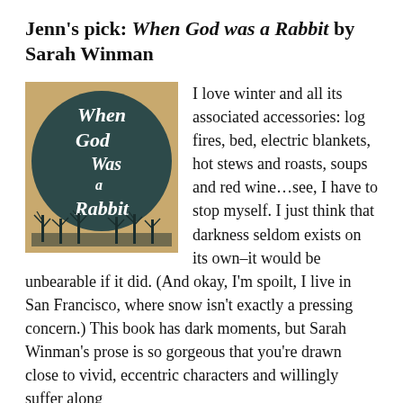Jenn's pick: When God was a Rabbit by Sarah Winman
[Figure (photo): Book cover of 'When God Was a Rabbit' by Sarah Winman. Dark teal/chalkboard circular design with white handwritten-style lettering on a kraft/brown background with bare trees silhouette at the bottom.]
I love winter and all its associated accessories: log fires, bed, electric blankets, hot stews and roasts, soups and red wine...see, I have to stop myself. I just think that darkness seldom exists on its own–it would be unbearable if it did. (And okay, I'm spoilt, I live in San Francisco, where snow isn't exactly a pressing concern.) This book has dark moments, but Sarah Winman's prose is so gorgeous that you're drawn close to vivid, eccentric characters and willingly suffer along